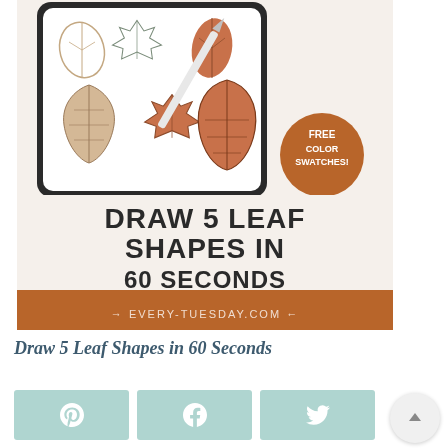[Figure (illustration): Promotional image for a Procreate tutorial: 'Draw 5 Leaf Shapes in 60 Seconds' with tablet showing various leaf drawings, a free color swatches badge, and every-tuesday.com branding bar.]
Draw 5 Leaf Shapes in 60 Seconds